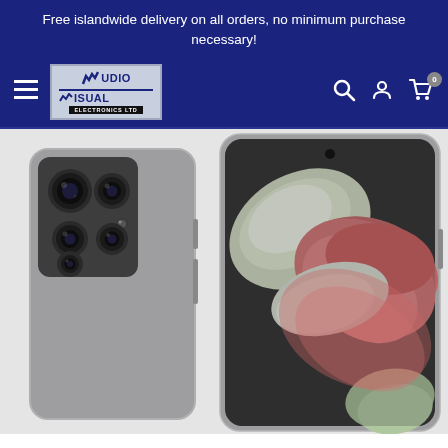Free islandwide delivery on all orders, no minimum purchase necessary!
[Figure (screenshot): Navigation bar with hamburger menu, Audio Visual Electronics Ltd logo, search icon, account icon, and cart icon with badge showing 0]
[Figure (photo): Samsung Galaxy S21 Ultra smartphone shown in two views: back view on left showing quad-camera module in grey/phantom titanium color, and front view on right showing the phone screen with colorful floral wallpaper]